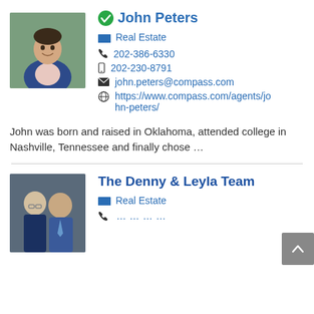[Figure (photo): Headshot of John Peters, a man in a blue suit jacket smiling outdoors]
John Peters
Real Estate
202-386-6330
202-230-8791
john.peters@compass.com
https://www.compass.com/agents/john-peters/
John was born and raised in Oklahoma, attended college in Nashville, Tennessee and finally chose …
The Denny & Leyla Team
[Figure (photo): Photo of two people, a woman with glasses and a man in a suit]
Real Estate